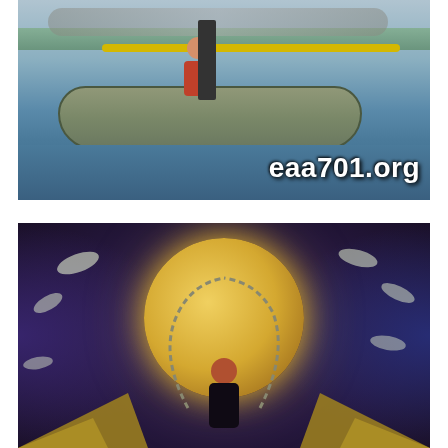[Figure (photo): A photograph of an inflatable boat (gray-green with yellow stripe) suspended in the air over water, with a person operating a powered paraglider attached to it. Trees and marina visible in background. Text overlay reads 'eaa701.org' in white bold font at bottom right.]
[Figure (illustration): An anime-style digital illustration featuring a dark-cloaked figure (likely Gaara from Naruto) standing in front of a large golden moon, surrounded by flying paper bombs/creatures, chains, and golden wing-like structures at the bottom. The background is deep purple and blue.]